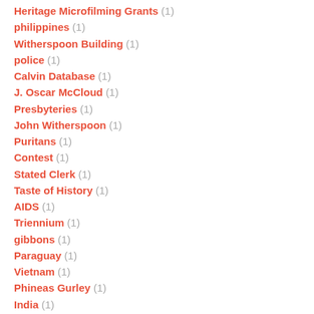Heritage Microfilming Grants (1)
philippines (1)
Witherspoon Building (1)
police (1)
Calvin Database (1)
J. Oscar McCloud (1)
Presbyteries (1)
John Witherspoon (1)
Puritans (1)
Contest (1)
Stated Clerk (1)
Taste of History (1)
AIDS (1)
Triennium (1)
gibbons (1)
Paraguay (1)
Vietnam (1)
Phineas Gurley (1)
India (1)